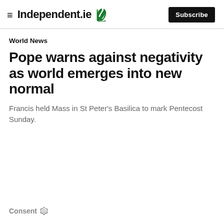≡ Independent.ie 🔱 Subscribe
World News
Pope warns against negativity as world emerges into new normal
Francis held Mass in St Peter's Basilica to mark Pentecost Sunday.
Consent ⚙